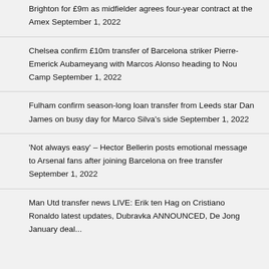Brighton for £9m as midfielder agrees four-year contract at the Amex September 1, 2022
Chelsea confirm £10m transfer of Barcelona striker Pierre-Emerick Aubameyang with Marcos Alonso heading to Nou Camp September 1, 2022
Fulham confirm season-long loan transfer from Leeds star Dan James on busy day for Marco Silva's side September 1, 2022
'Not always easy' – Hector Bellerin posts emotional message to Arsenal fans after joining Barcelona on free transfer September 1, 2022
Man Utd transfer news LIVE: Erik ten Hag on Cristiano Ronaldo latest updates, Dubravka ANNOUNCED, De Jong January deal...